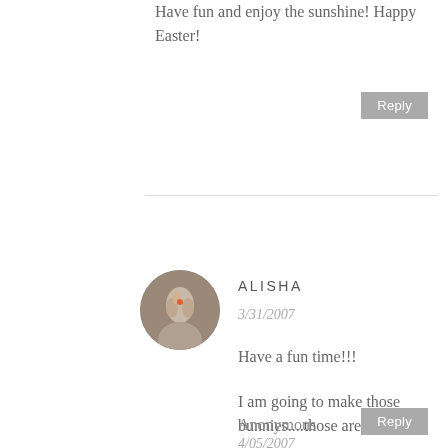Have fun and enjoy the sunshine! Happy Easter!
Reply
ALISHA
3/31/2007
Have a fun time!!!
I am going to make those bunnies....those are cute.
Reply
Anonymous
4/05/2007